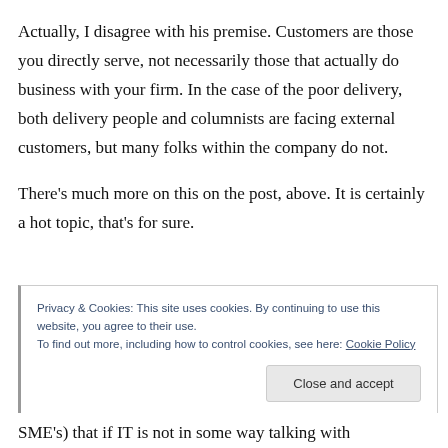Actually, I disagree with his premise. Customers are those you directly serve, not necessarily those that actually do business with your firm. In the case of the poor delivery, both delivery people and columnists are facing external customers, but many folks within the company do not.
There's much more on this on the post, above. It is certainly a hot topic, that's for sure.
Privacy & Cookies: This site uses cookies. By continuing to use this website, you agree to their use. To find out more, including how to control cookies, see here: Cookie Policy
SME's) that if IT is not in some way talking with